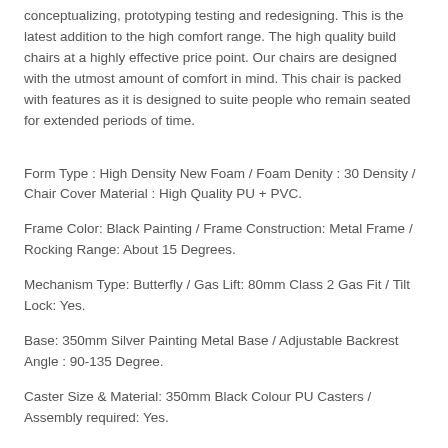conceptualizing, prototyping testing and redesigning. This is the latest addition to the high comfort range. The high quality build chairs at a highly effective price point. Our chairs are designed with the utmost amount of comfort in mind. This chair is packed with features as it is designed to suite people who remain seated for extended periods of time.
Form Type : High Density New Foam / Foam Denity : 30 Density / Chair Cover Material : High Quality PU + PVC.
Frame Color: Black Painting / Frame Construction: Metal Frame / Rocking Range: About 15 Degrees.
Mechanism Type: Butterfly / Gas Lift: 80mm Class 2 Gas Fit / Tilt Lock: Yes.
Base: 350mm Silver Painting Metal Base / Adjustable Backrest Angle : 90-135 Degree.
Caster Size & Material: 350mm Black Colour PU Casters / Assembly required: Yes.